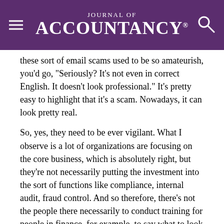Journal of Accountancy
these sort of email scams used to be so amateurish, you'd go, "Seriously? It's not even in correct English. It doesn't look professional." It's pretty easy to highlight that it's a scam. Nowadays, it can look pretty real.
So, yes, they need to be ever vigilant. What I observe is a lot of organizations are focusing on the core business, which is absolutely right, but they're not necessarily putting the investment into the sort of functions like compliance, internal audit, fraud control. And so therefore, there's not the people there necessarily to conduct training for people in finance, for example, to say what to look out for — or in procurement. They're not as well-trained as they could be. Especially to sort of emerging nuances of how things happen — as you pointed out — with technology as an enabler.
Adamek: Do you see — as you look across the fraud landscape — do you see a bigger risk to finance departments